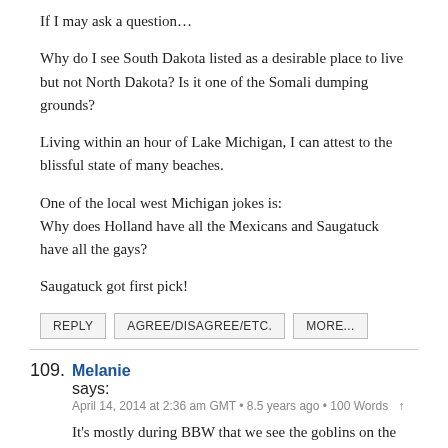If I may ask a question…
Why do I see South Dakota listed as a desirable place to live but not North Dakota? Is it one of the Somali dumping grounds?
Living within an hour of Lake Michigan, I can attest to the blissful state of many beaches.
One of the local west Michigan jokes is:
Why does Holland have all the Mexicans and Saugatuck have all the gays?
Saugatuck got first pick!
REPLY   AGREE/DISAGREE/ETC.   MORE...
109. Melanie says:
April 14, 2014 at 2:36 am GMT • 8.5 years ago • 100 Words ↑
It's mostly during BBW that we see the goblins on the beach. The rest of the time you see nary a one. The local ones only go